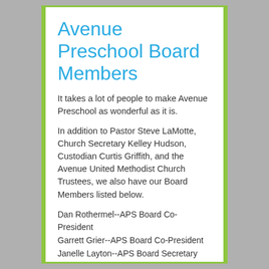Avenue Preschool Board Members
It takes a lot of people to make Avenue Preschool as wonderful as it is.
In addition to Pastor Steve LaMotte, Church Secretary Kelley Hudson, Custodian Curtis Griffith, and the Avenue United Methodist Church Trustees, we also have our Board Members listed below.
Dan Rothermel--APS Board Co-President
Garrett Grier--APS Board Co-President
Janelle Layton--APS Board Secretary
Steve LaMotte--Lead Pastor of Avenue United Methodist Church
Lara Lee